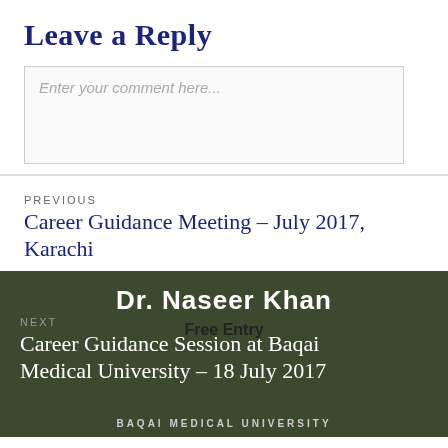Leave a Reply
Enter your comment here...
PREVIOUS
Career Guidance Meeting – July 2017, Karachi
[Figure (photo): Banner image with dark olive/green background showing text: Dr. Naseer Khan, Free Entry, BAQAI MEDICAL UNIVERSITY, with navigation link for next post: Career Guidance Session at Baqai Medical University – 18 July 2017]
NEXT
Career Guidance Session at Baqai Medical University – 18 July 2017